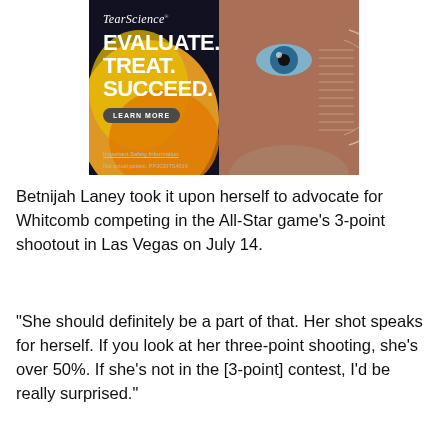[Figure (photo): TearScience advertisement showing a close-up of a man's eye with orange/yellow gradient design elements. Text reads: TearScience, EVALUATE. TREAT. SUCCEED. LEARN MORE. Important Safety Information. Not actual patient. PP2020TS4019]
Betnijah Laney took it upon herself to advocate for Whitcomb competing in the All-Star game's 3-point shootout in Las Vegas on July 14.
"She should definitely be a part of that. Her shot speaks for herself. If you look at her three-point shooting, she's over 50%. If she's not in the [3-point] contest, I'd be really surprised."